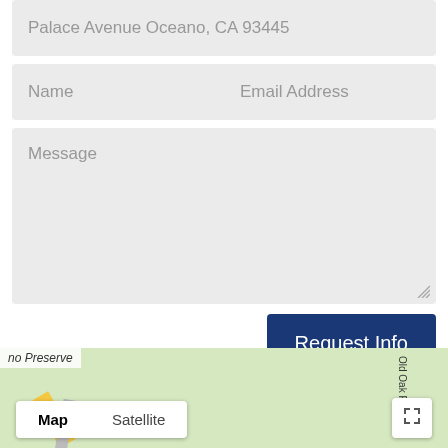Palace Avenue Oceano, CA 93445
Name
Email Address
Message
Request Info
[Figure (map): Google Map showing area near Oceano Preserve with Map/Satellite toggle controls and fullscreen button]